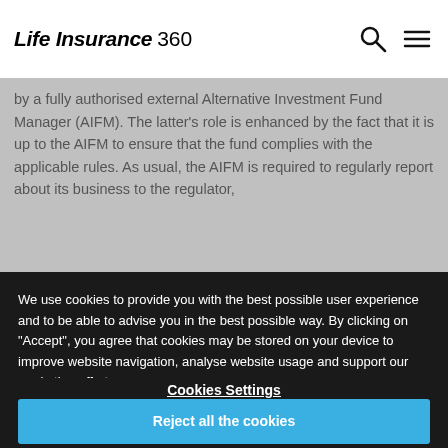Life Insurance 360
by a fully authorised external Alternative Investment Fund Manager (AIFM). The latter's role is enhanced by the fact that it is up to the AIFM to ensure that the fund complies with the applicable rules. As usual, the AIFM is required to regularly report about its business to the regulator,
We use cookies to provide you with the best possible user experience and to be able to advise you in the best possible way. By clicking on "Accept", you agree that cookies may be stored on your device to improve website navigation, analyse website usage and support our marketing efforts.
Cookie Policy
Cookies Settings
Reject all the cookies
Accept all the cookies